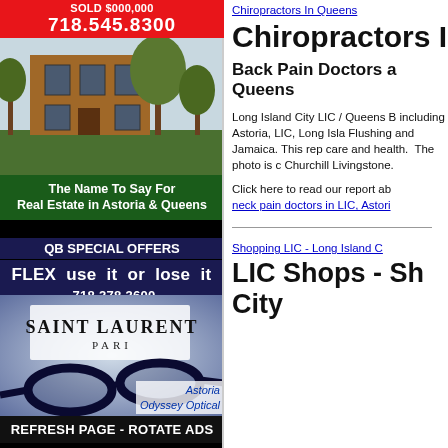[Figure (photo): Left column: real estate ad showing a house photo with red SOLD banner and phone number 718.545.8300, green banner 'The Name To Say For Real Estate in Astoria & Queens', dark banner 'QB SPECIAL OFFERS', blue banner 'FLEX use it or lose it 718.278.3600', Saint Laurent glasses photo with Astoria Odyssey Optical badge, and bottom black bar 'REFRESH PAGE - ROTATE ADS']
Chiropractors In Queens
Chiropractors I
Back Pain Doctors a Queens
Long Island City LIC / Queens B including Astoria, LIC, Long Isla Flushing and Jamaica. This rep care and health.  The photo is c Churchill Livingstone.
Click here to read our report ab neck pain doctors in LIC, Astori
Shopping LIC - Long Island C
LIC Shops - Sh City